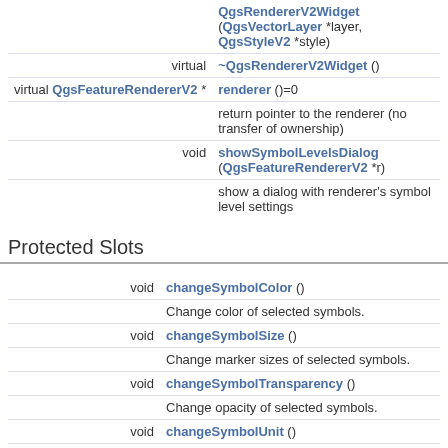| type | member |
| --- | --- |
|  | QgsRendererV2Widget (QgsVectorLayer *layer, QgsStyleV2 *style) |
| virtual | ~QgsRendererV2Widget () |
| virtual QgsFeatureRendererV2 * | renderer ()=0 |
|  | return pointer to the renderer (no transfer of ownership) |
| void | showSymbolLevelsDialog (QgsFeatureRendererV2 *r) |
|  | show a dialog with renderer's symbol level settings |
Protected Slots
| type | member |
| --- | --- |
| void | changeSymbolColor () |
|  | Change color of selected symbols. |
| void | changeSymbolSize () |
|  | Change marker sizes of selected symbols. |
| void | changeSymbolTransparency () |
|  | Change opacity of selected symbols. |
| void | changeSymbolUnit () |
|  | Change units mm/map units of selected symbols. |